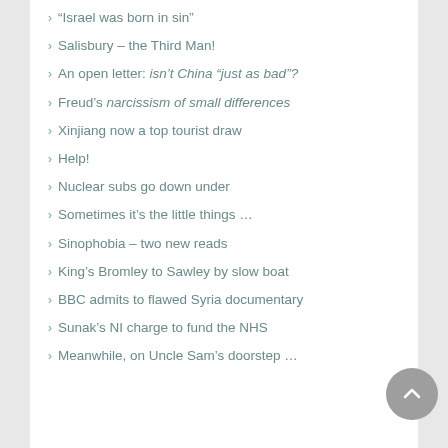“Israel was born in sin”
Salisbury – the Third Man!
An open letter: isn’t China “just as bad”?
Freud’s narcissism of small differences
Xinjiang now a top tourist draw
Help!
Nuclear subs go down under
Sometimes it’s the little things …
Sinophobia – two new reads
King’s Bromley to Sawley by slow boat
BBC admits to flawed Syria documentary
Sunak’s NI charge to fund the NHS
Meanwhile, on Uncle Sam’s doorstep …